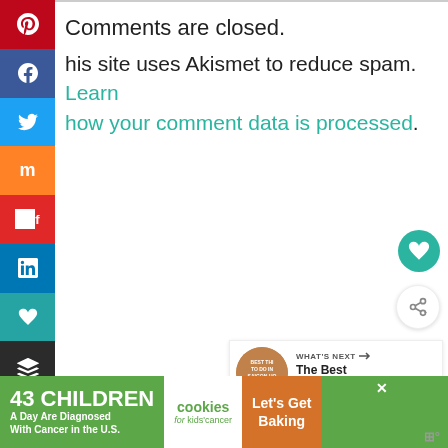[Figure (screenshot): Social media sharing sidebar with Pinterest, Facebook, Twitter, Mix, Flipboard, LinkedIn, Save (heart), and Buffer icons on colored backgrounds]
Comments are closed.
This site uses Akismet to reduce spam. Learn how your comment data is processed.
[Figure (other): Teal heart floating action button]
[Figure (other): White share floating action button]
[Figure (other): What's Next card with thumbnail and text: The Best Things to D...]
[Figure (other): Advertisement banner: 43 Children A Day Are Diagnosed With Cancer in the U.S. / cookies for kids cancer / Let's Get Baking]